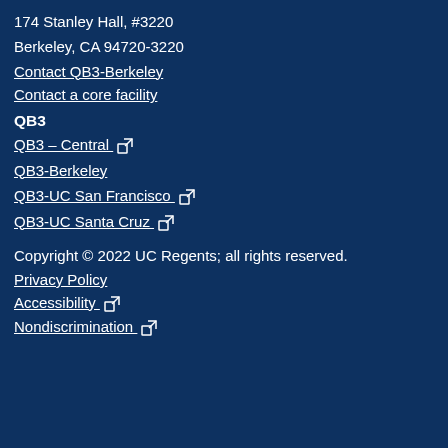174 Stanley Hall, #3220
Berkeley, CA 94720-3220
Contact QB3-Berkeley
Contact a core facility
QB3
QB3 – Central [external link]
QB3-Berkeley
QB3-UC San Francisco [external link]
QB3-UC Santa Cruz [external link]
Copyright © 2022 UC Regents; all rights reserved.
Privacy Policy
Accessibility [external link]
Nondiscrimination [external link]